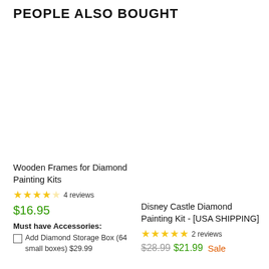PEOPLE ALSO BOUGHT
Wooden Frames for Diamond Painting Kits
4 reviews
$16.95
Must have Accessories:
Add Diamond Storage Box (64 small boxes) $29.99
Disney Castle Diamond Painting Kit - [USA SHIPPING]
2 reviews
$28.99 $21.99 Sale